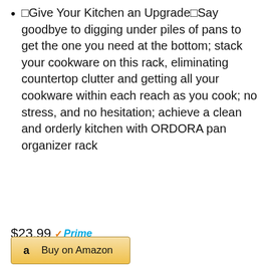🔲Give Your Kitchen an Upgrade🔲Say goodbye to digging under piles of pans to get the one you need at the bottom; stack your cookware on this rack, eliminating countertop clutter and getting all your cookware within each reach as you cook; no stress, and no hesitation; achieve a clean and orderly kitchen with ORDORA pan organizer rack
$23.99 ✓Prime
Buy on Amazon